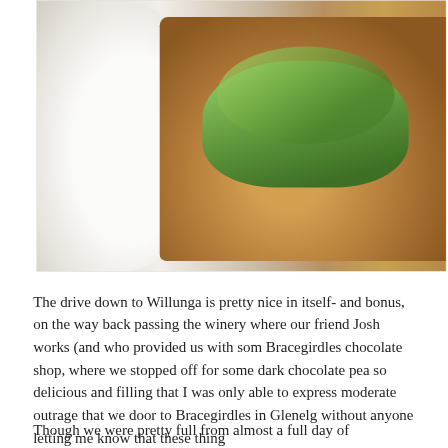[Figure (photo): Photo of avocado toast on a wooden board with a white plate, viewed from above, partially cropped]
The drive down to Willunga is pretty nice in itself- and bonus, on the way back passing the winery where our friend Josh works (and who provided us with som Bracegirdles chocolate shop, where we stopped off for some dark chocolate pea so delicious and filling that I was only able to express moderate outrage that we door to Bracegirdles in Glenelg without anyone letting me know that these thing
Though we were pretty full from almost a full day of unashamed grazing, we sti parents. We headed out to Mitran Da Dhaba, an all-vegetarian Indian restaurant
[Figure (photo): Photo of Indian vegetarian food, likely a curry dish with green garnish, at Mitran Da Dhaba restaurant]